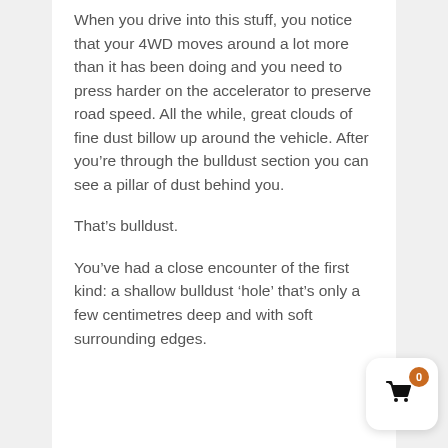When you drive into this stuff, you notice that your 4WD moves around a lot more than it has been doing and you need to press harder on the accelerator to preserve road speed. All the while, great clouds of fine dust billow up around the vehicle. After you're through the bulldust section you can see a pillar of dust behind you.
That's bulldust.
You've had a close encounter of the first kind: a shallow bulldust 'hole' that's only a few centimetres deep and with soft surrounding edges.